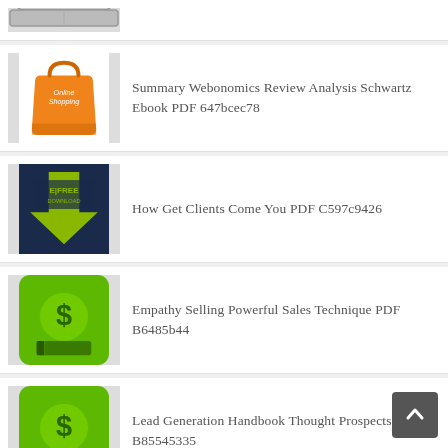(partial top item - laptop/computer icon)
Summary Webonomics Review Analysis Schwartz Ebook PDF 647bcec78
How Get Clients Come You PDF C597c9426
Empathy Selling Powerful Sales Technique PDF B6485b44
Lead Generation Handbook Thought Prospects PDF B85545335
Audience Marketing Subscribers Fans Followers Ebook PDF A84cee013
Consumer Behavior Marketing Strategy 8th PDF 84c21e8e1